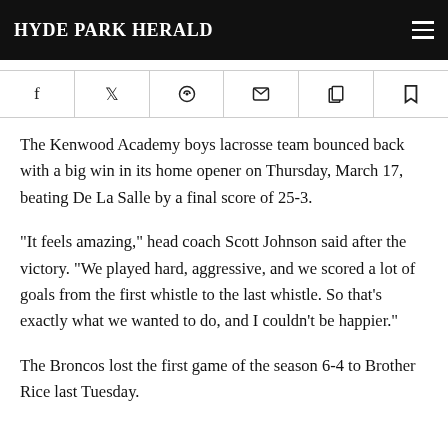Hyde Park Herald
The Kenwood Academy boys lacrosse team bounced back with a big win in its home opener on Thursday, March 17, beating De La Salle by a final score of 25-3.
“It feels amazing,” head coach Scott Johnson said after the victory. “We played hard, aggressive, and we scored a lot of goals from the first whistle to the last whistle. So that’s exactly what we wanted to do, and I couldn’t be happier.”
The Broncos lost the first game of the season 6-4 to Brother Rice last Tuesday.